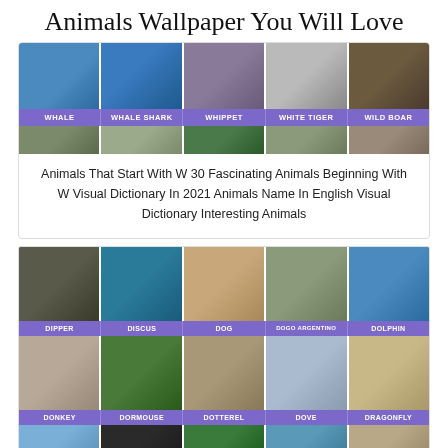Animals Wallpaper You Will Love
[Figure (photo): Grid of 5 animal photos (whale, whale shark, whippet, white tiger, wild boar) with purple label bar showing animal names, plus partial second row of animal photos]
Animals That Start With W 30 Fascinating Animals Beginning With W Visual Dictionary In 2021 Animals Name In English Visual Dictionary Interesting Animals
[Figure (photo): Grid of animal photos arranged in rows: Row 1 (Dipper, Discus, Dog, Dogo Argentino, Dolphin), Row 2 (Donkey, Dormouse, Dotterel, Dove, Dragonfly), partial Row 3 with more animals]